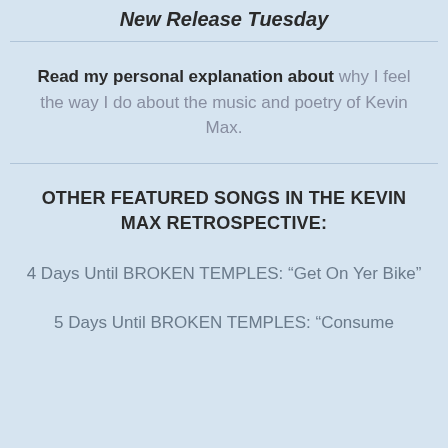New Release Tuesday
Read my personal explanation about why I feel the way I do about the music and poetry of Kevin Max.
OTHER FEATURED SONGS IN THE KEVIN MAX RETROSPECTIVE:
4 Days Until BROKEN TEMPLES: “Get On Yer Bike”
5 Days Until BROKEN TEMPLES: “Consume